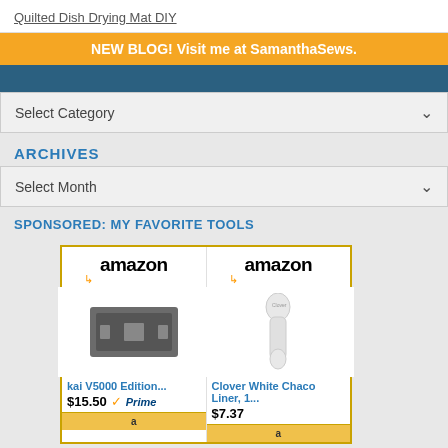Quilted Dish Drying Mat DIY
NEW BLOG! Visit me at SamanthaSews.
CATEGORIES
Select Category
ARCHIVES
Select Month
SPONSORED: MY FAVORITE TOOLS
[Figure (other): Two Amazon product listings side by side: kai V5000 Edition... priced at $15.50 with Prime badge, and Clover White Chaco Liner, 1... priced at $7.37]